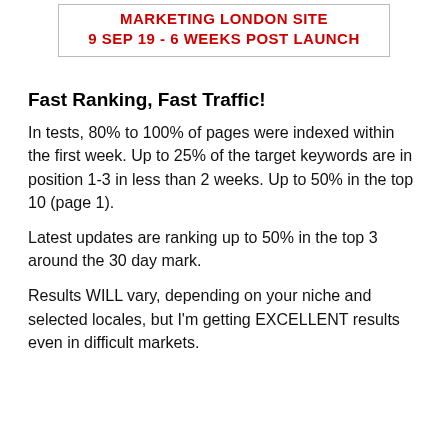MARKETING LONDON SITE
9 SEP 19 - 6 WEEKS POST LAUNCH
Fast Ranking, Fast Traffic!
In tests, 80% to 100% of pages were indexed within the first week. Up to 25% of the target keywords are in position 1-3 in less than 2 weeks. Up to 50% in the top 10 (page 1).
Latest updates are ranking up to 50% in the top 3 around the 30 day mark.
Results WILL vary, depending on your niche and selected locales, but I'm getting EXCELLENT results even in difficult markets.